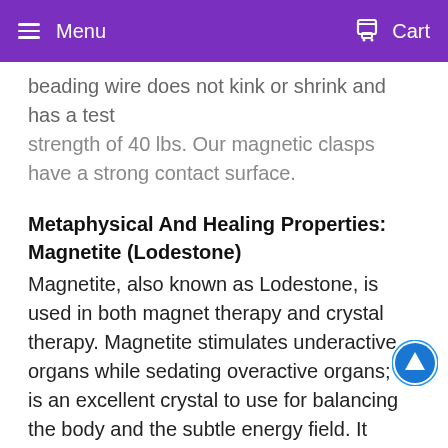Menu  Cart
beading wire does not kink or shrink and has a test strength of 40 lbs. Our magnetic clasps have a strong contact surface.
Metaphysical And Healing Properties:
Magnetite (Lodestone)
Magnetite, also known as Lodestone, is used in both magnet therapy and crystal therapy. Magnetite stimulates underactive organs while sedating overactive organs; it is an excellent crystal to use for balancing the body and the subtle energy field. It aligns the chakras and balances yin yang energies. Magnetite has a receptive, attracting energy that attracts power, as well as good fortune and love. It also guards against infidelity. Magnetite is used to lessen or dispel grief, fear, anger, confusion and attachment. It helps relieve burdens. Magnetite increases energy and endurance, shortens recovery time and accelerates the